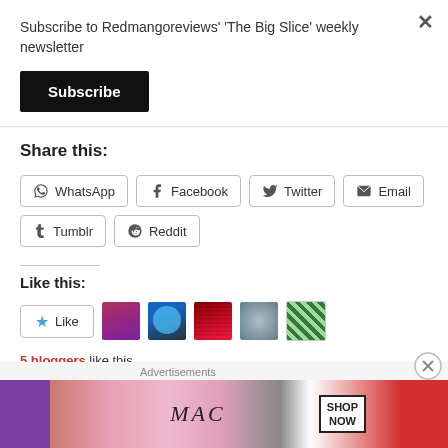Subscribe to Redmangoreviews' 'The Big Slice' weekly newsletter
Subscribe
Share this:
WhatsApp   Facebook   Twitter   Email   Tumblr   Reddit
Like this:
Like
5 bloggers like this.
Advertisements